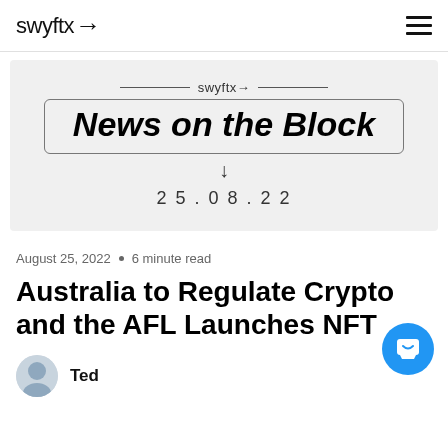swyftx→
[Figure (illustration): Swyftx News on the Block newsletter banner with date 25.08.22 on a light grey background]
August 25, 2022 • 6 minute read
Australia to Regulate Crypto and the AFL Launches NFT
Ted